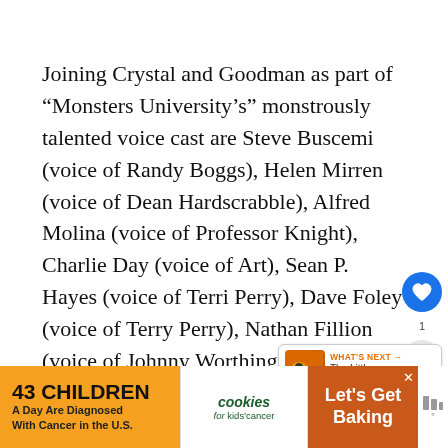Joining Crystal and Goodman as part of “Monsters University’s” monstrously talented voice cast are Steve Buscemi (voice of Randy Boggs), Helen Mirren (voice of Dean Hardscrabble), Alfred Molina (voice of Professor Knight), Charlie Day (voice of Art), Sean P. Hayes (voice of Terri Perry), Dave Foley (voice of Terry Perry), Nathan Fillion (voice of Johnny Worthington) and Aubrey Plaza (voice of Claire Wheeler). Featuring a score from recent Rock and Roll Hall of Fame inductee and award-winning composer Randy Newman (“Monsters, Inc.,” “Toy Story 3”), MU also includes
[Figure (screenshot): UI overlay with a blue heart/favorite button, a share button with count '1', and a 'What's Next' box showing 'The Little Mermaid Blu...' with a thumbnail]
[Figure (infographic): Advertisement banner: '43 CHILDREN A Day Are Diagnosed With Cancer in the U.S.' | cookies for kids' cancer | Let's Get Baking]